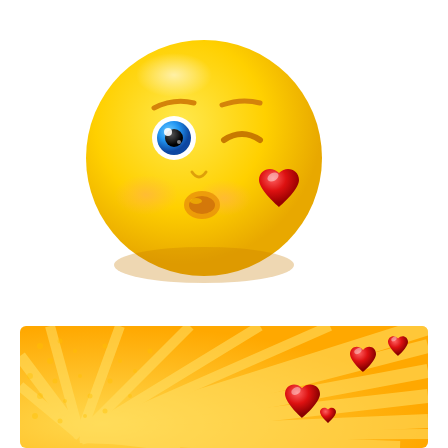[Figure (illustration): A yellow smiley face emoji winking with one blue eye open and one eye closed, puckered lips blowing a kiss, rosy cheeks, with a large red heart to the right side of its mouth, on a white background.]
[Figure (illustration): An orange and yellow sunburst radial ray background with halftone dot pattern, with several red heart shapes of varying sizes floating in the lower right corner area.]